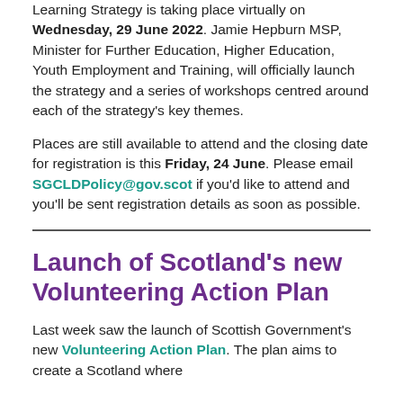Learning Strategy is taking place virtually on Wednesday, 29 June 2022. Jamie Hepburn MSP, Minister for Further Education, Higher Education, Youth Employment and Training, will officially launch the strategy and a series of workshops centred around each of the strategy's key themes.
Places are still available to attend and the closing date for registration is this Friday, 24 June. Please email SGCLDPolicy@gov.scot if you'd like to attend and you'll be sent registration details as soon as possible.
Launch of Scotland's new Volunteering Action Plan
Last week saw the launch of Scottish Government's new Volunteering Action Plan. The plan aims to create a Scotland where